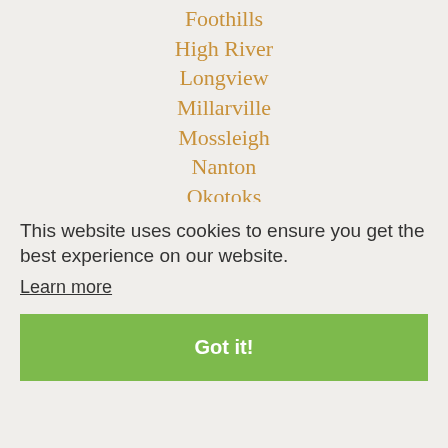Foothills
High River
Longview
Millarville
Mossleigh
Nanton
Okotoks
Priddis
Redwood Meadows
Turner Valley
This website uses cookies to ensure you get the best experience on our website.
Learn more
Got it!